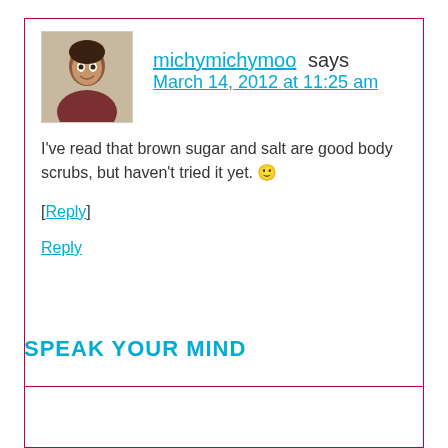michymichymoo says
March 14, 2012 at 11:25 am
I've read that brown sugar and salt are good body scrubs, but haven't tried it yet. 🙂
[Reply]
Reply
SPEAK YOUR MIND